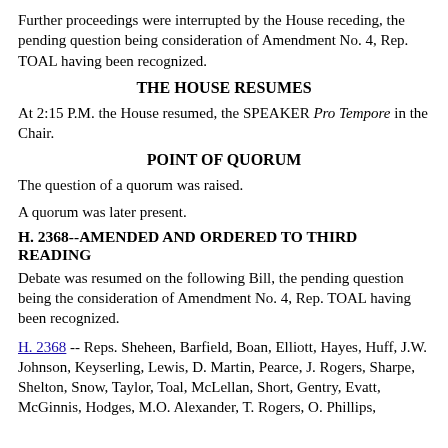Further proceedings were interrupted by the House receding, the pending question being consideration of Amendment No. 4, Rep. TOAL having been recognized.
THE HOUSE RESUMES
At 2:15 P.M. the House resumed, the SPEAKER Pro Tempore in the Chair.
POINT OF QUORUM
The question of a quorum was raised.
A quorum was later present.
H. 2368--AMENDED AND ORDERED TO THIRD READING
Debate was resumed on the following Bill, the pending question being the consideration of Amendment No. 4, Rep. TOAL having been recognized.
H. 2368 -- Reps. Sheheen, Barfield, Boan, Elliott, Hayes, Huff, J.W. Johnson, Keyserling, Lewis, D. Martin, Pearce, J. Rogers, Sharpe, Shelton, Snow, Taylor, Toal, McLellan, Short, Gentry, Evatt, McGinnis, Hodges, M.O. Alexander, T. Rogers, O. Phillips,